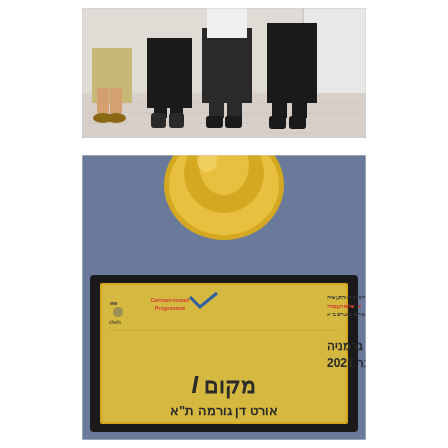[Figure (photo): Group photo showing the lower half of four people standing together indoors on a tiled floor. They are wearing casual clothing and shoes/sandals.]
[Figure (photo): Photo of a golden trophy/bell shape at top, and below it a plaque on dark background. The plaque reads in Hebrew and includes logos: 'we chefs', 'German-Israeli Programme', and government ministry logos. Text on plaque: תחרות השף הצעיר ישראל – גרמניה נובמבר 2021, מקום I, אורט דן גורמה ת"א]